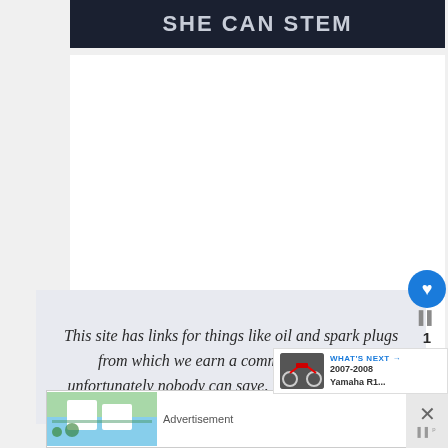[Figure (screenshot): Dark navy banner with bold white uppercase text reading SHE CAN STEM]
This site has links for things like oil and spark plugs from which we earn a commission (which unfortunately nobody can save, not even us). If you
[Figure (screenshot): What's Next overlay showing motorcycle thumbnail with text 2007-2008 Yamaha R1...]
[Figure (screenshot): Advertisement banner at bottom showing a beach house photo]